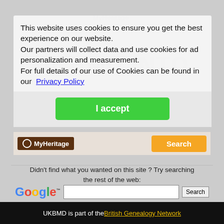[Figure (screenshot): Cookie consent modal overlay on a MyHeritage/UKBMD genealogy website. Modal contains cookie notice text with a Privacy Policy link and a green 'I accept' button. Background shows faded MyHeritage branding and a MyHeritage banner with an orange Search button.]
This website uses cookies to ensure you get the best experience on our website.
Our partners will collect data and use cookies for ad personalization and measurement.
For full details of our use of Cookies can be found in our  Privacy Policy
I accept
Didn't find what you wanted on this site ? Try searching the rest of the web:
Google™  [search input]  Search
UKBMD is part of the British Genealogy Network